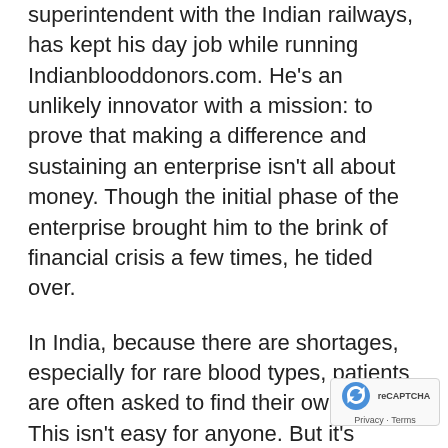superintendent with the Indian railways, has kept his day job while running Indianblooddonors.com. He's an unlikely innovator with a mission: to prove that making a difference and sustaining an enterprise isn't all about money. Though the initial phase of the enterprise brought him to the brink of financial crisis a few times, he tided over.
In India, because there are shortages, especially for rare blood types, patients are often asked to find their own blood. This isn't easy for anyone. But it's especially hard for those people who come from villages, far away from main centres, and don't know how to get around.
Mr. Poacha is Ashoka changemaker and has delivered talk at TEDx Nagpur. He was also